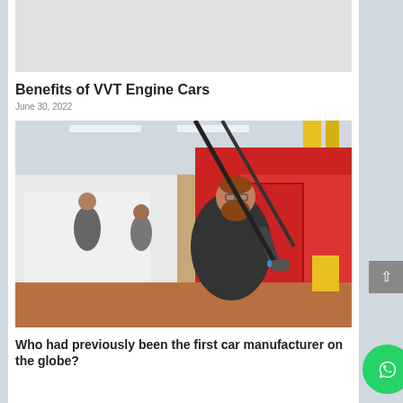[Figure (photo): Gray placeholder image at top of article]
Benefits of VVT Engine Cars
June 30, 2022
[Figure (photo): Factory worker with red beard working on a red car/truck in an automotive assembly plant. Worker is using a tool on the vehicle door area. Assembly line visible in background with other workers and vehicles.]
Who had previously been the first car manufacturer on the globe?